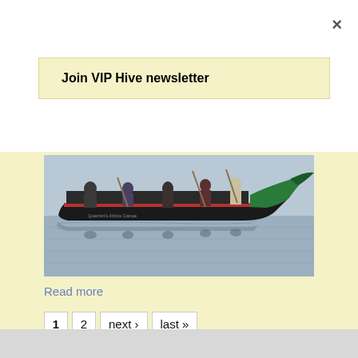×
Join VIP Hive newsletter
[Figure (photo): People rowing a traditional long wooden boat with a curved green bow on calm water]
Read more
1  2  next ›  last »